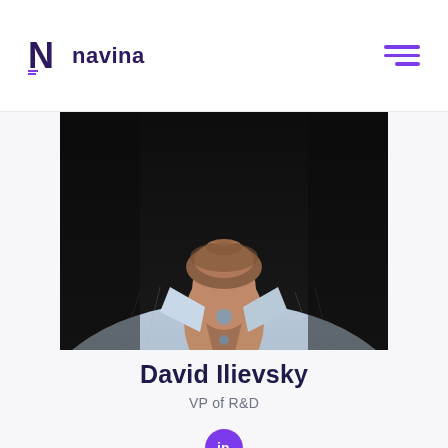navina
[Figure (photo): Profile photo of David Ilievsky, cropped at chest/neck level, wearing a light blue button-up shirt, dark background]
David Ilievsky
VP of R&D
[Figure (logo): LinkedIn icon button (purple circle with 'in' text)]